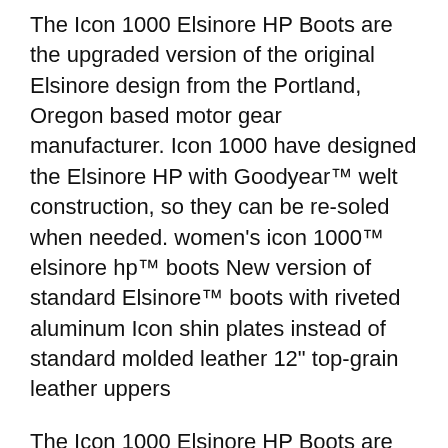The Icon 1000 Elsinore HP Boots are the upgraded version of the original Elsinore design from the Portland, Oregon based motor gear manufacturer. Icon 1000 have designed the Elsinore HP with Goodyear™ welt construction, so they can be re-soled when needed. women's icon 1000™ elsinore hp™ boots New version of standard Elsinore™ boots with riveted aluminum Icon shin plates instead of standard molded leather 12" top-grain leather uppers
The Icon 1000 Elsinore HP Boots are the upgraded version of the original Elsinore design from the Portland, Oregon based motor gear manufacturer.